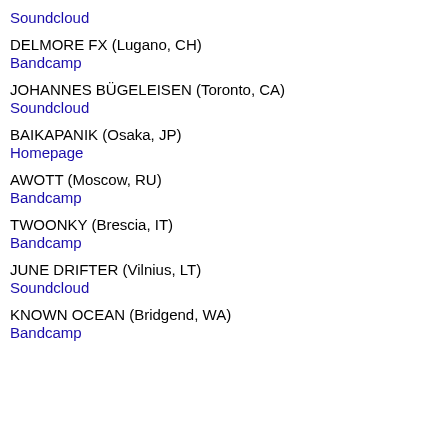Soundcloud
DELMORE FX (Lugano, CH)
Bandcamp
JOHANNES BÜGELEISEN (Toronto, CA)
Soundcloud
BAIKAPANIK (Osaka, JP)
Homepage
AWOTT (Moscow, RU)
Bandcamp
TWOONKY (Brescia, IT)
Bandcamp
JUNE DRIFTER (Vilnius, LT)
Soundcloud
KNOWN OCEAN (Bridgend, WA)
Bandcamp